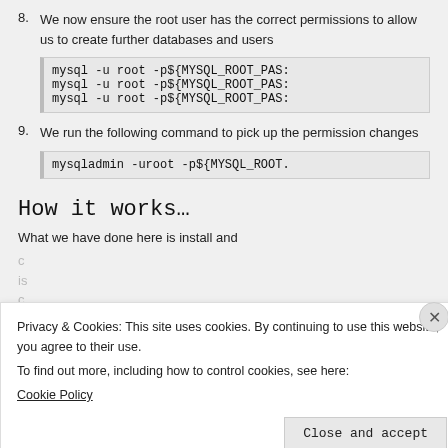8. We now ensure the root user has the correct permissions to allow us to create further databases and users
mysql -u root -p${MYSQL_ROOT_PAS:
mysql -u root -p${MYSQL_ROOT_PAS:
mysql -u root -p${MYSQL_ROOT_PAS:
9. We run the following command to pick up the permission changes
mysqladmin -uroot -p${MYSQL_ROOT.
How it works…
What we have done here is install and
Privacy & Cookies: This site uses cookies. By continuing to use this website, you agree to their use.
To find out more, including how to control cookies, see here:
Cookie Policy
Close and accept